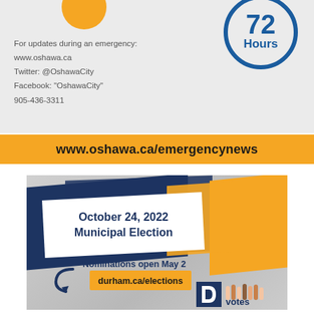For updates during an emergency:
www.oshawa.ca
Twitter: @OshawaCity
Facebook: "OshawaCity"
905-436-3311
[Figure (infographic): 72 Hours circle in blue outline style]
www.oshawa.ca/emergencynews
[Figure (infographic): Municipal election advertisement: October 24, 2022 Municipal Election. Nominations open May 2. durham.ca/elections. Durham Votes logo.]